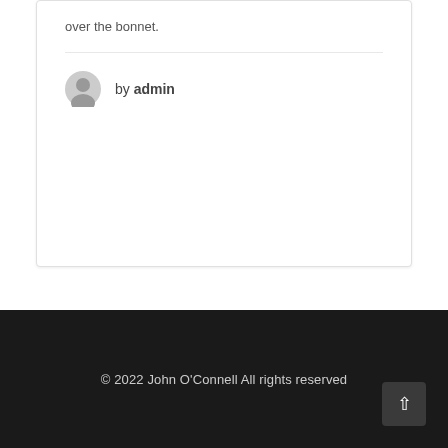over the bonnet.
by admin
© 2022 John O'Connell All rights reserved